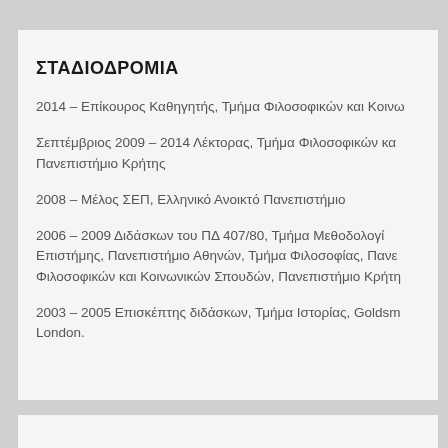ΣΤΑΔΙΟΔΡΟΜΙΑ
2014 – Επίκουρος Καθηγητής, Τμήμα Φιλοσοφικών και Κοινω...
Σεπτέμβριος 2009 – 2014 Λέκτορας, Τμήμα Φιλοσοφικών κα... Πανεπιστήμιο Κρήτης
2008 – Μέλος ΣΕΠ, Ελληνικό Ανοικτό Πανεπιστήμιο
2006 – 2009 Διδάσκων του ΠΔ 407/80, Τμήμα Μεθοδολογί... Επιστήμης, Πανεπιστήμιο Αθηνών, Τμήμα Φιλοσοφίας, Πανε... Φιλοσοφικών και Κοινωνικών Σπουδών, Πανεπιστήμιο Κρήτη...
2003 – 2005 Επισκέπτης διδάσκων, Τμήμα Ιστορίας, Goldsm... London.